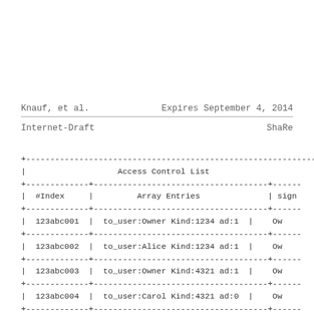Knauf, et al.                    Expires September 4, 2014
Internet-Draft                             ShaRe
| #Index | Array Entries | sign... |
| --- | --- | --- |
| 123abc001 | to_user:Owner Kind:1234 ad:1 | Ow... |
| 123abc002 | to_user:Alice Kind:1234 ad:1 | Ow... |
| 123abc003 | to_user:Owner Kind:4321 ad:1 | Ow... |
| 123abc004 | to_user:Carol Kind:4321 ad:0 | Ow... |
| ... | ... | ... |